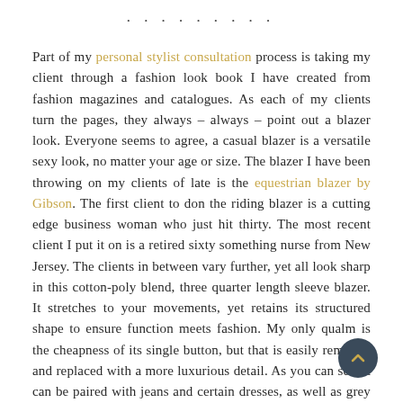• • • • • • • • •
Part of my personal stylist consultation process is taking my client through a fashion look book I have created from fashion magazines and catalogues. As each of my clients turn the pages, they always – always – point out a blazer look. Everyone seems to agree, a casual blazer is a versatile sexy look, no matter your age or size. The blazer I have been throwing on my clients of late is the equestrian blazer by Gibson. The first client to don the riding blazer is a cutting edge business woman who just hit thirty. The most recent client I put it on is a retired sixty something nurse from New Jersey. The clients in between vary further, yet all look sharp in this cotton-poly blend, three quarter length sleeve blazer. It stretches to your movements, yet retains its structured shape to ensure function meets fashion. My only qualm is the cheapness of its single button, but that is easily removed and replaced with a more luxurious detail. As you can see, it can be paired with jeans and certain dresses, as well as grey slacks and shorts.